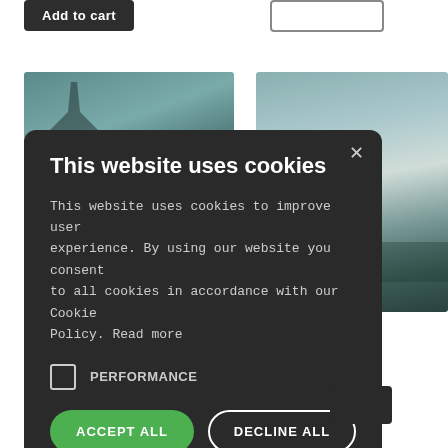[Figure (screenshot): Add to cart dark button at top left of e-commerce page]
[Figure (photo): Winter landscape photo with bare trees against grey-blue sky]
[Figure (photo): Winter lake or sea landscape with misty blue-green tones]
tt – Early in
[Figure (screenshot): Cookie consent dialog overlay with dark background. Title: This website uses cookies. Body: This website uses cookies to improve user experience. By using our website you consent to all cookies in accordance with our Cookie Policy. Read more. Checkbox: PERFORMANCE. Buttons: ACCEPT ALL (green), DECLINE ALL (outline). Show details option. Powered by Cookie-Script footer.]
This website uses cookies
This website uses cookies to improve user experience. By using our website you consent to all cookies in accordance with our Cookie Policy. Read more
PERFORMANCE
ACCEPT ALL
DECLINE ALL
SHOW DETAILS
POWERED BY COOKIE-SCRIPT